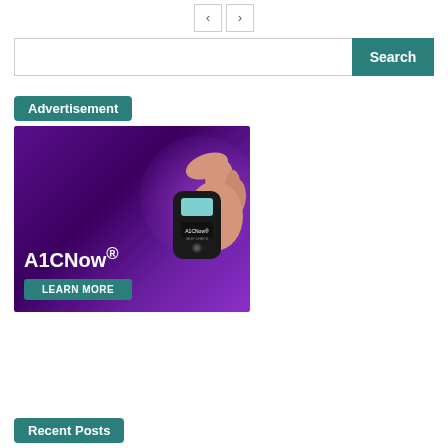[Figure (other): Navigation previous/next buttons (left and right arrows)]
Search
Advertisement
[Figure (photo): A1CNow advertisement showing a hand holding an A1CNow Self Check device against a purple background, with 'A1CNow®' branding and a 'LEARN MORE' teal button.]
Recent Posts